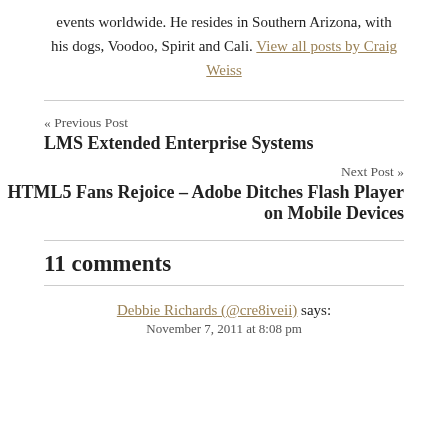events worldwide. He resides in Southern Arizona, with his dogs, Voodoo, Spirit and Cali. View all posts by Craig Weiss
« Previous Post
LMS Extended Enterprise Systems
Next Post »
HTML5 Fans Rejoice – Adobe Ditches Flash Player on Mobile Devices
11 comments
Debbie Richards (@cre8iveii) says:
November 7, 2011 at 8:08 pm